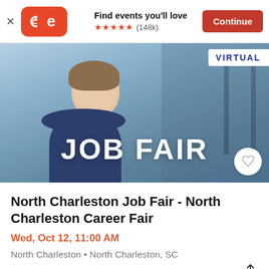Find events you'll love ★★★★★ (148k) Continue
[Figure (photo): Woman smiling in professional setting with blue background. Large white text reads JOB FAIR. VIRTUAL badge in top right corner. Heart/save button in bottom right.]
North Charleston Job Fair - North Charleston Career Fair
Wed, Oct 12, 11:00 AM
North Charleston • North Charleston, SC
Free